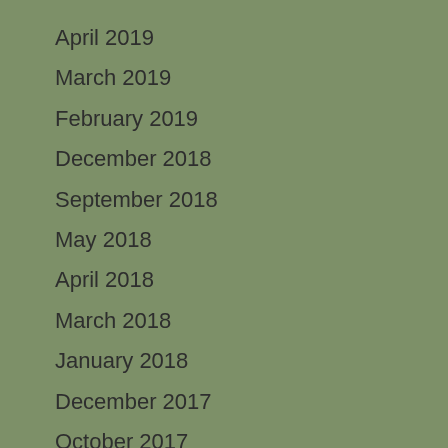April 2019
March 2019
February 2019
December 2018
September 2018
May 2018
April 2018
March 2018
January 2018
December 2017
October 2017
September 2017
June 2017